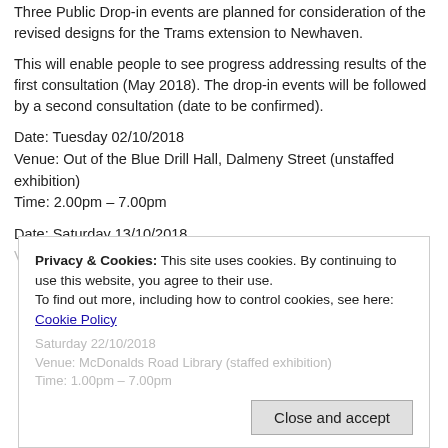Three Public Drop-in events are planned for consideration of the revised designs for the Trams extension to Newhaven.
This will enable people to see progress addressing results of the first consultation (May 2018). The drop-in events will be followed by a second consultation (date to be confirmed).
Date: Tuesday 02/10/2018
Venue: Out of the Blue Drill Hall, Dalmeny Street (unstaffed exhibition)
Time: 2.00pm – 7.00pm
Date: Saturday 13/10/2018
Venue: Ocean Terminal (staffed exhibition)
Privacy & Cookies: This site uses cookies. By continuing to use this website, you agree to their use.
To find out more, including how to control cookies, see here: Cookie Policy